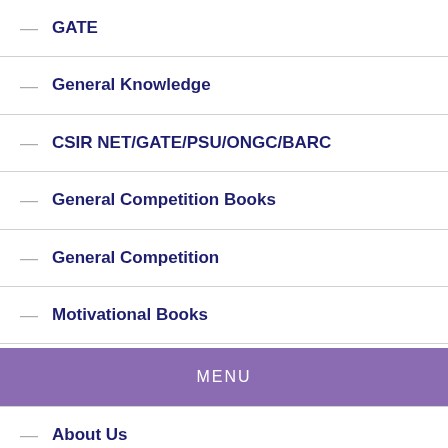— GATE
— General Knowledge
— CSIR NET/GATE/PSU/ONGC/BARC
— General Competition Books
— General Competition
— Motivational Books
MENU
— About Us
— Contact Us